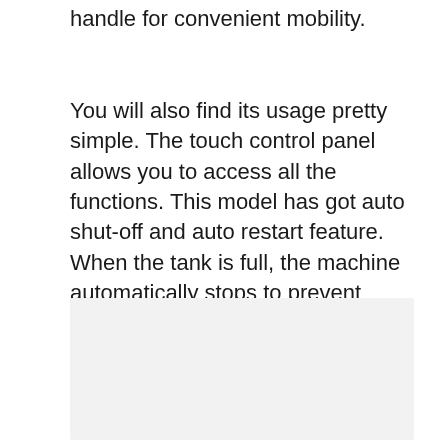handle for convenient mobility.
You will also find its usage pretty simple. The touch control panel allows you to access all the functions. This model has got auto shut-off and auto restart feature. When the tank is full, the machine automatically stops to prevent water overflow.
[Figure (photo): Placeholder image area with light gray background]